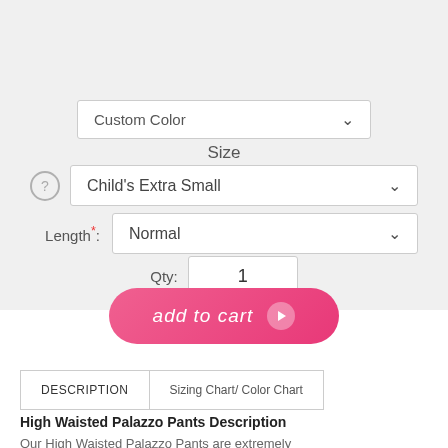[Figure (other): Color swatches grid showing various fabric color options in two rows: top row includes teal, lime green, light teal, bright green; bottom row includes cream, tan, rust, orange, dark brown, very dark, light gray, medium gray, dark gray, black, and peach (partial).]
Custom Color
Size
Child's Extra Small
Length*: Normal
Qty: 1
add to cart
DESCRIPTION
Sizing Chart/ Color Chart
High Waisted Palazzo Pants Description
Our High Waisted Palazzo Pants are extremely